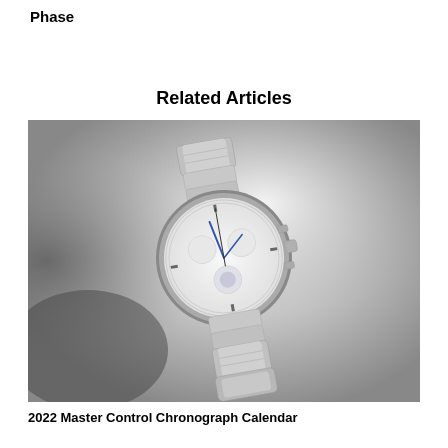Phase
Related Articles
[Figure (photo): Black and white product photo of a luxury chronograph watch with a metal bracelet, floating against a metallic brushed steel background. The watch appears to be a Jaeger-LeCoultre Master Control Chronograph Calendar with a white dial and blue hands.]
2022 Master Control Chronograph Calendar